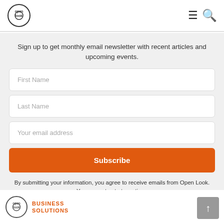Open Look logo, hamburger menu, search icon
Sign up to get monthly email newsletter with recent articles and upcoming events.
First Name
Last Name
Your email address
Subscribe
By submitting your information, you agree to receive emails from Open Look. You can opt out at any time.
Open Look BUSINESS SOLUTIONS